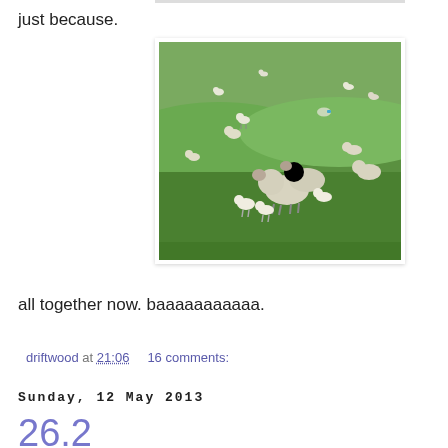just because.
[Figure (photo): A green hillside field with numerous sheep grazing, including lambs, scattered across rolling green grass.]
all together now. baaaaaaaaaaa.
driftwood at 21:06    16 comments:
Sunday, 12 May 2013
26.2